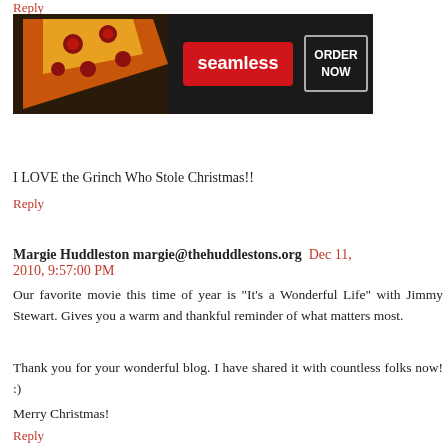Reply
[Figure (photo): Seamless food delivery advertisement banner showing pizza with 'seamless' brand name and 'ORDER NOW' button]
I LOVE the Grinch Who Stole Christmas!!
Reply
Margie Huddleston margie@thehuddlestons.org  Dec 11, 2010, 9:57:00 PM
Our favorite movie this time of year is "It's a Wonderful Life" with Jimmy Stewart. Gives you a warm and thankful reminder of what matters most.
Thank you for your wonderful blog. I have shared it with countless folks now! :)
Merry Christmas!
Reply